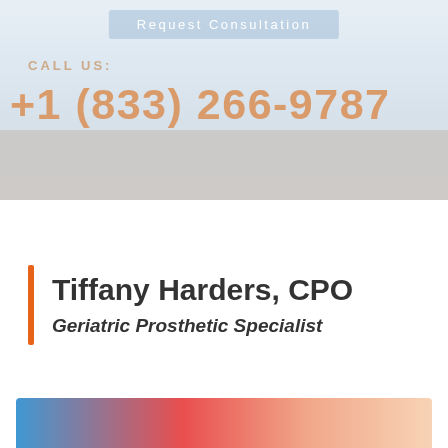[Figure (photo): Hero banner background with light blue/grey gradient and faded background image of people]
Request Consultation
CALL US:
+1 (833) 266-9787
Tiffany Harders, CPO
Geriatric Prosthetic Specialist
[Figure (photo): Partial photo strip at bottom showing medical/prosthetic related imagery]